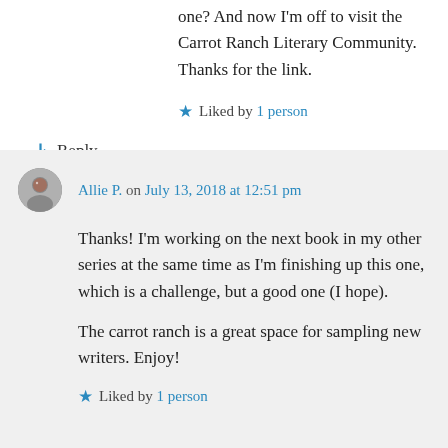one? And now I'm off to visit the Carrot Ranch Literary Community. Thanks for the link.
Liked by 1 person
↳ Reply
Allie P. on July 13, 2018 at 12:51 pm
Thanks! I'm working on the next book in my other series at the same time as I'm finishing up this one, which is a challenge, but a good one (I hope).
The carrot ranch is a great space for sampling new writers. Enjoy!
Liked by 1 person